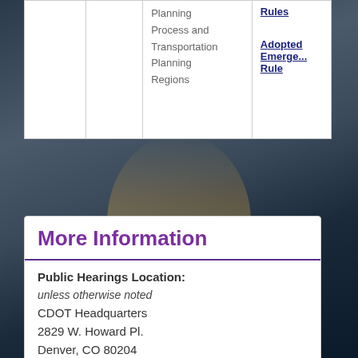|  |  | Planning Process and Transportation Planning Regions | Rules
Adopted Emergency Rule |
| --- | --- | --- | --- |
|  |  | Planning Process and Transportation Planning Regions | Rules
Adopted Emergency Rule |
More Information
Public Hearings Location:
unless otherwise noted
CDOT Headquarters
2829 W. Howard Pl.
Denver, CO 80204